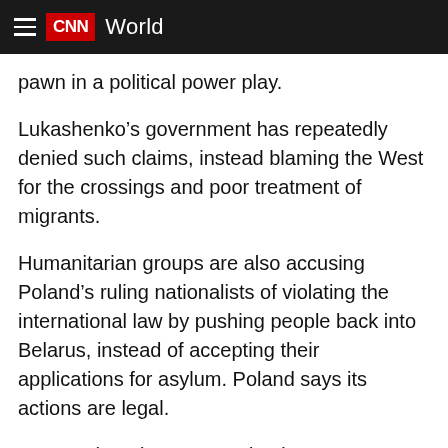CNN World
pawn in a political power play.
Lukashenko’s government has repeatedly denied such claims, instead blaming the West for the crossings and poor treatment of migrants.
Humanitarian groups are also accusing Poland’s ruling nationalists of violating the international law by pushing people back into Belarus, instead of accepting their applications for asylum. Poland says its actions are legal.
Here’s what else you need to know:
Migrants are trapped in terrible conditions: The situation at the border remains fluid, with at least 800 people currently camped out in a makeshift